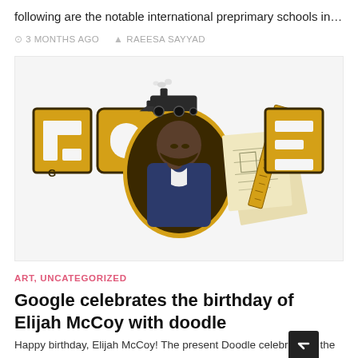following are the notable international preprimary schools in…
3 MONTHS AGO   RAEESA SAYYAD
[Figure (illustration): Google Doodle celebrating the birthday of Elijah McCoy. Shows the Google logo styled in gold/yellow block letters with a portrait of Elijah McCoy (a Black man in a dark blue jacket with a beard, holding his chin in thought) in the second 'o'. A steam locomotive sits on top, and engineering blueprints and a ruler are shown on the right side.]
ART, UNCATEGORIZED
Google celebrates the birthday of Elijah McCoy with doodle
Happy birthday, Elijah McCoy! The present Doodle celebrates the birthday of Elijah McCoy, a Black Canadian-American engineer and innovator who…